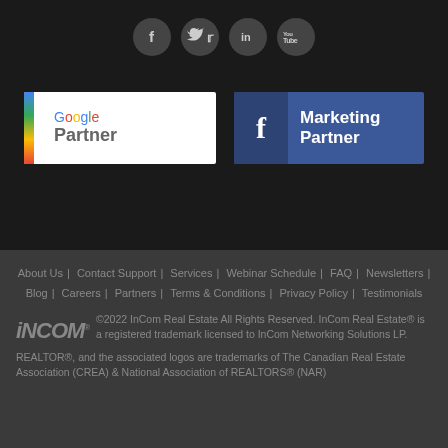[Figure (logo): Social media icons: Facebook (f), Twitter (bird), LinkedIn (in), YouTube (You Tube) — four dark circular buttons]
[Figure (logo): Google Partner badge — white rectangle with colored vertical bar on left and Google Partner text]
[Figure (logo): Facebook Marketing Partner badge — blue rectangle with Facebook f icon and Marketing Partner text]
About Us | Contact Support | Services | Webinar Schedule | FAQ | Newsletters | Blog | Careers | Partners | Terms & Conditions | Privacy Policy | Testimonials
©2022 InCom Real Estate All Rights Reserved. InCom Real Estate® is a registered trademark licensed to InCom Networking Solutions LP.
REALTOR®, and the associated logos are trademarks of The Canadian Real Estate Association (CREA) & National Association of REALTORS® (NAR)